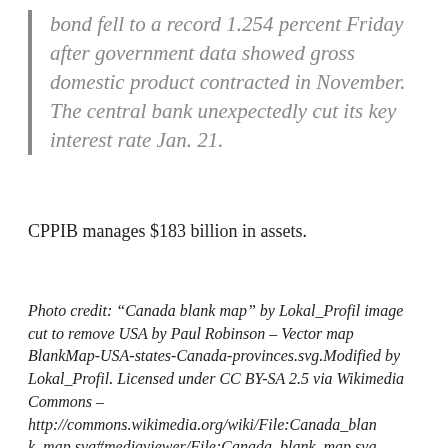bond fell to a record 1.254 percent Friday after government data showed gross domestic product contracted in November. The central bank unexpectedly cut its key interest rate Jan. 21.
CPPIB manages $183 billion in assets.
Photo credit: “Canada blank map” by Lokal_Profil image cut to remove USA by Paul Robinson – Vector map BlankMap-USA-states-Canada-provinces.svg.Modified by Lokal_Profil. Licensed under CC BY-SA 2.5 via Wikimedia Commons – http://commons.wikimedia.org/wiki/File:Canada_blank_map.svg#mediaviewer/File:Canada_blank_map.svg